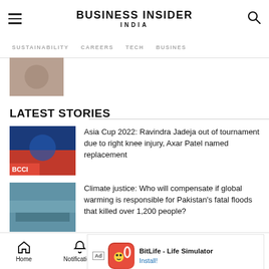BUSINESS INSIDER INDIA
SUSTAINABILITY   CAREERS   TECH   BUSINESS
[Figure (photo): Partial thumbnail image at top]
LATEST STORIES
[Figure (photo): Cricket player thumbnail for Asia Cup story]
Asia Cup 2022: Ravindra Jadeja out of tournament due to right knee injury, Axar Patel named replacement
[Figure (photo): Flood scene thumbnail for climate justice story]
Climate justice: Who will compensate if global warming is responsible for Pakistan's fatal floods that killed over 1,200 people?
[Figure (photo): Zomato Pay story thumbnail]
Hotel industry body cautions restaurants over Zomato Pay,
[Figure (screenshot): BitLife - Life Simulator advertisement banner]
Home   Notifications   Newsletters   Next   Share